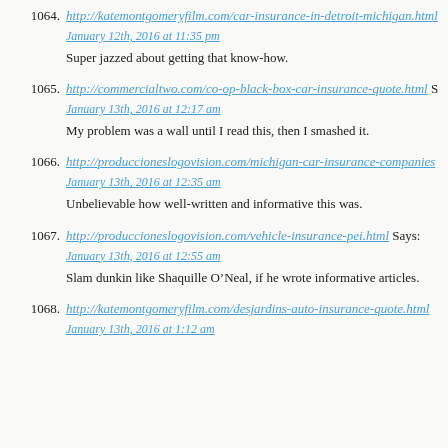1064. http://katemontgomeryfilm.com/car-insurance-in-detroit-michigan.html
January 12th, 2016 at 11:35 pm
Super jazzed about getting that know-how.
1065. http://commercialtwo.com/co-op-black-box-car-insurance-quote.html
January 13th, 2016 at 12:17 am
My problem was a wall until I read this, then I smashed it.
1066. http://produccioneslogovision.com/michigan-car-insurance-companies
January 13th, 2016 at 12:35 am
Unbelievable how well-written and informative this was.
1067. http://produccioneslogovision.com/vehicle-insurance-pei.html Says:
January 13th, 2016 at 12:55 am
Slam dunkin like Shaquille O’Neal, if he wrote informative articles.
1068. http://katemontgomeryfilm.com/desjardins-auto-insurance-quote.html
January 13th, 2016 at 1:12 am